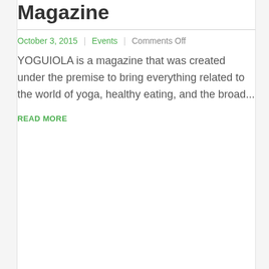Magazine
October 3, 2015 | Events | Comments Off
YOGUIOLA is a magazine that was created under the premise to bring everything related to the world of yoga, healthy eating, and the broad...
READ MORE